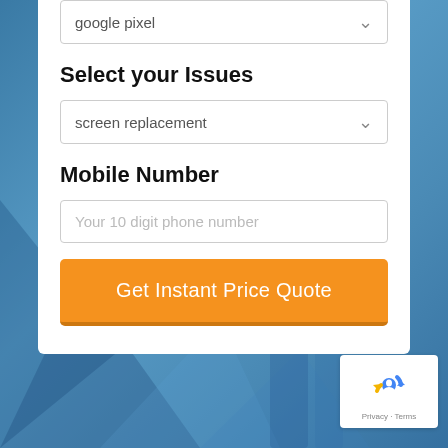[Figure (screenshot): Blue background with abstract shapes, resembling a smartphone repair service webpage background]
google pixel
Select your Issues
screen replacement
Mobile Number
Your 10 digit phone number
Get Instant Price Quote
[Figure (logo): reCAPTCHA badge with Privacy and Terms links]